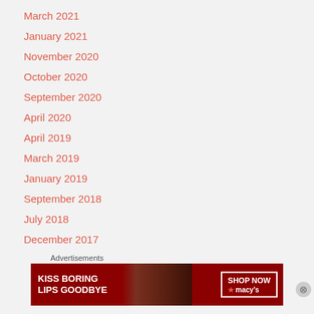March 2021
January 2021
November 2020
October 2020
September 2020
April 2020
April 2019
March 2019
January 2019
September 2018
July 2018
December 2017
July 2017
Advertisements
[Figure (photo): Macy's advertisement banner: 'KISS BORING LIPS GOODBYE' with a photo of a woman with red lips and 'SHOP NOW' button with Macy's star logo]